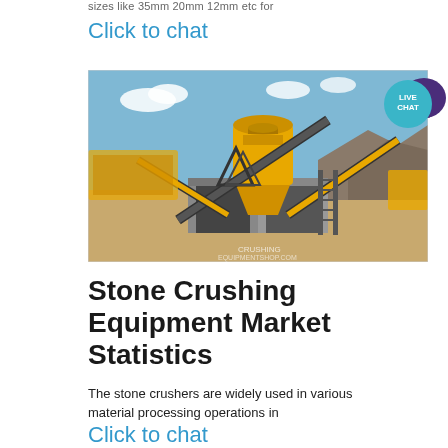sizes like 35mm 20mm 12mm etc for
Click to chat
[Figure (photo): Outdoor stone crushing equipment facility showing yellow cone crusher, conveyor belts, concrete structures, and rocky terrain under blue sky]
[Figure (illustration): Live chat bubble icon — teal circle with white text LIVE CHAT and dark purple speech bubble]
Stone Crushing Equipment Market Statistics
The stone crushers are widely used in various material processing operations in
Click to chat